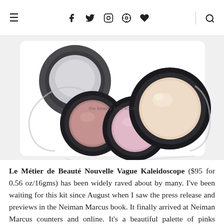≡  f  𝕥  ◻  ℗  ♥  🔍
[Figure (photo): Three circular makeup compact pans (eyeshadows/blush) in shades of pink and peach/champagne, arranged in a scattered fan layout on a white background. The compacts have dark grey/black rims and clear outer cases.]
Le Métier de Beauté Nouvelle Vague Kaleidoscope ($95 for 0.56 oz/16gms) has been widely raved about by many. I've been waiting for this kit since August when I saw the press release and previews in the Neiman Marcus book. It finally arrived at Neiman Marcus counters and online. It's a beautiful palette of pinks combined with an